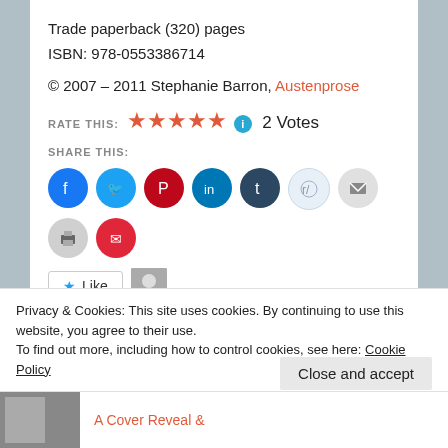Trade paperback (320) pages
ISBN: 978-0553386714
© 2007 – 2011 Stephanie Barron, Austenprose
RATE THIS: ★★★★★ ℹ 2 Votes
SHARE THIS:
[Figure (infographic): Row of social sharing icon buttons: Facebook, Twitter, Pinterest, LinkedIn, Tumblr, Reddit, Email, Print, Pocket]
★ Like | One blogger likes this.
Privacy & Cookies: This site uses cookies. By continuing to use this website, you agree to their use.
To find out more, including how to control cookies, see here: Cookie Policy
Close and accept
A Cover Reveal &